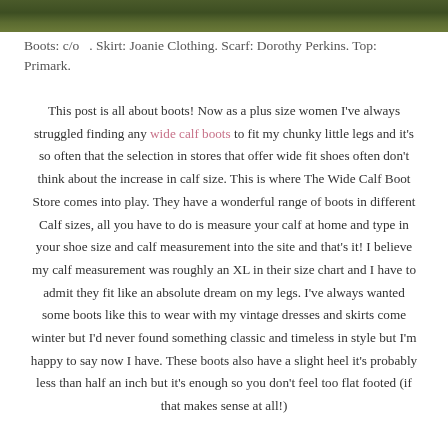[Figure (photo): Outdoor nature scene, strip of greenery/foliage at top of page]
Boots: c/o  . Skirt: Joanie Clothing. Scarf: Dorothy Perkins. Top: Primark.
This post is all about boots! Now as a plus size women I've always struggled finding any wide calf boots to fit my chunky little legs and it's so often that the selection in stores that offer wide fit shoes often don't think about the increase in calf size. This is where The Wide Calf Boot Store comes into play. They have a wonderful range of boots in different Calf sizes, all you have to do is measure your calf at home and type in your shoe size and calf measurement into the site and that's it! I believe my calf measurement was roughly an XL in their size chart and I have to admit they fit like an absolute dream on my legs. I've always wanted some boots like this to wear with my vintage dresses and skirts come winter but I'd never found something classic and timeless in style but I'm happy to say now I have. These boots also have a slight heel it's probably less than half an inch but it's enough so you don't feel too flat footed (if that makes sense at all!)